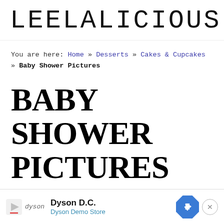LEELALICIOUS
You are here: Home » Desserts » Cakes & Cupcakes » Baby Shower Pictures
BABY SHOWER PICTURES
June 22, 2014 / Last Modified: May 21, 2020 by Regina | Leelalicious / 2 Comments
[Figure (other): Social share buttons: Pinterest (red), Facebook (blue), Twitter (cyan), WhatsApp (green)]
Dyson D.C. Dyson Demo Store